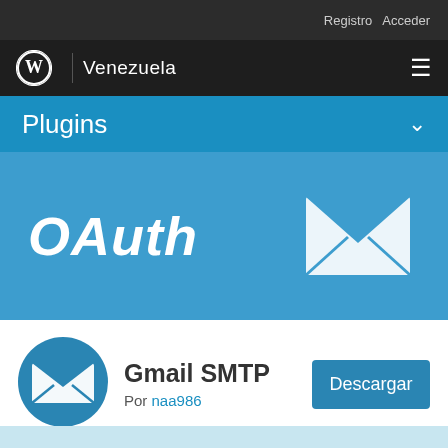Registro  Acceder
[Figure (logo): WordPress logo with Venezuela site name and hamburger menu on dark navigation bar]
Plugins
[Figure (illustration): OAuth banner with large bold italic 'OAuth' text and email envelope icon on blue background]
Gmail SMTP
Por naa986
Descargar